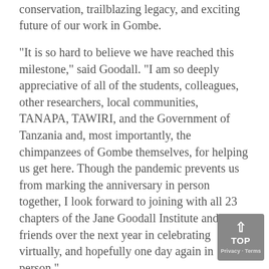conservation, trailblazing legacy, and exciting future of our work in Gombe.
“It is so hard to believe we have reached this milestone,” said Goodall. “I am so deeply appreciative of all of the students, colleagues, other researchers, local communities, TANAPA, TAWIRI, and the Government of Tanzania and, most importantly, the chimpanzees of Gombe themselves, for helping us get here. Though the pandemic prevents us from marking the anniversary in person together, I look forward to joining with all 23 chapters of the Jane Goodall Institute and our friends over the next year in celebrating virtually, and hopefully one day again in person.”
MORE ABOUT #GOMBE60:
[Figure (other): A 'TOP' button overlay in the bottom-right corner with an upward arrow icon and 'Privacy · Terms' text at the bottom.]